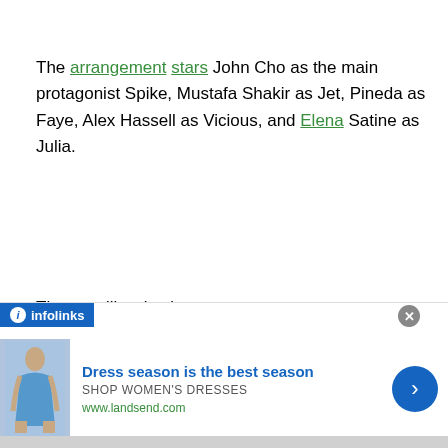The arrangement stars John Cho as the main protagonist Spike, Mustafa Shakir as Jet, Pineda as Faye, Alex Hassell as Vicious, and Elena Satine as Julia.
The cast likewise incorporates:
Geoff Stults as Chalmers, Jet's ex-partner
Tamara Tunie as Ana, Martian club owner
Mason Alexander Park as Gren, Ana's right hand person
Rachel House as Mao, White Tigers Capo
Ann Truong as Shin, one of Vicious' twin henchmen
Hoa Xuande as Lin, one Vicious' twin henchmen
[Figure (infographic): Advertisement banner from infolinks for Lands' End women's dresses. Shows a woman in a blue dress, headline 'Dress season is the best season', subtext 'SHOP WOMEN'S DRESSES', URL 'www.landsend.com', with a blue circular arrow button.]